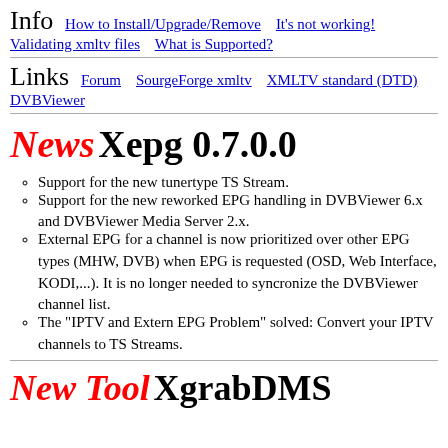Info   How to Install/Upgrade/Remove   It's not working!   Validating xmltv files   What is Supported?
Links   Forum   SourgeForge xmltv   XMLTV standard (DTD)   DVBViewer
News Xepg 0.7.0.0
Support for the new tunertype TS Stream.
Support for the new reworked EPG handling in DVBViewer 6.x and DVBViewer Media Server 2.x.
External EPG for a channel is now prioritized over other EPG types (MHW, DVB) when EPG is requested (OSD, Web Interface, KODI,...). It is no longer needed to syncronize the DVBViewer channel list.
The "IPTV and Extern EPG Problem" solved: Convert your IPTV channels to TS Streams.
New Tool XgrabDMS